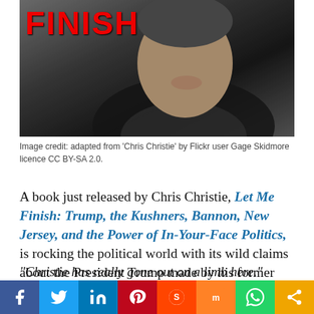[Figure (photo): Photo of a laughing man in a dark suit, with red bold text 'FINISH' in the upper left corner of the image]
Image credit: adapted from 'Chris Christie' by Flickr user Gage Skidmore licence CC BY-SA 2.0.
A book just released by Chris Christie, Let Me Finish: Trump, the Kushners, Bannon, New Jersey, and the Power of In-Your-Face Politics, is rocking the political world with its wild claims about the President Trump made by his former campaign manager and supporter.
“Christie has really gone out on a limb here.”
Initial focuses on Christie’s assertion that